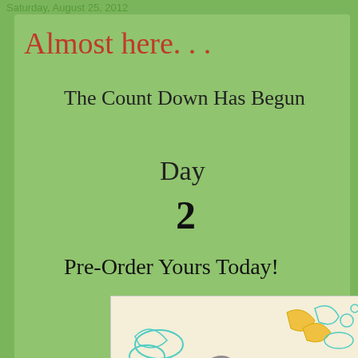Saturday, August 25, 2012
Almost here. . .
The Count Down Has Begun
Day
2
Pre-Order Yours Today!
[Figure (illustration): Book cover illustration with floral patterns on cream background and an orange semicircle at the bottom with text 'Dreams "Are Meant To Be Lived"' in white bold font]